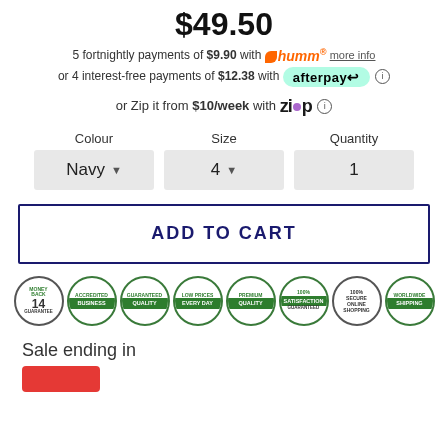$49.50
5 fortnightly payments of $9.90 with humm more info
or 4 interest-free payments of $12.38 with afterpay
or Zip it from $10/week with Zip
Colour: Navy   Size: 4   Quantity: 1
ADD TO CART
[Figure (infographic): Row of 8 trust/guarantee badge icons: Money Back Guarantee (14), Accredited Business, Guaranteed Quality, Low Prices Every Day, Premium Quality, 100% Satisfaction Guaranteed, 100% Secure Online Shopping, Worldwide Shipping]
Sale ending in